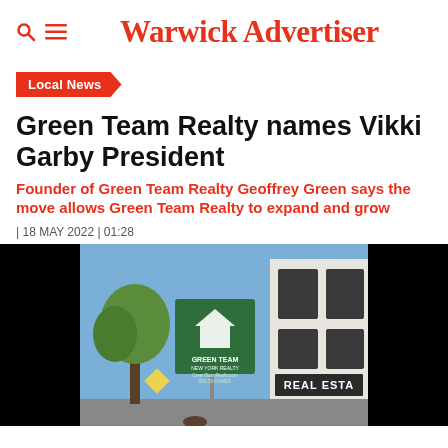Warwick Advertiser
Local News
Green Team Realty names Vikki Garby President
Founder of Green Team Realty Geoffrey Green says the move allows Green Team Realty to expand and grow
| 18 MAY 2022 | 01:28
[Figure (photo): Exterior photo of a real estate office with a green Green Team New York Realty sign hanging outside, and a white building with 'REAL ESTA...' signage visible. Trees and blue sky in background.]